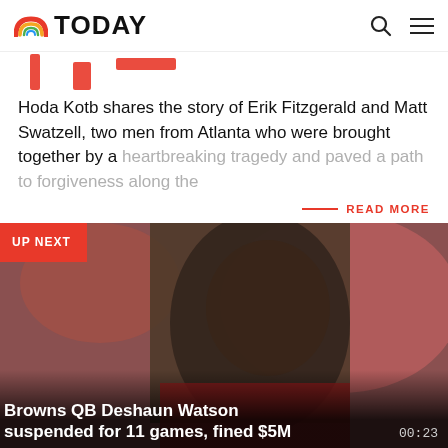TODAY
[Figure (screenshot): Partial red decorative graphic, partially cut off at top of page]
Hoda Kotb shares the story of Erik Fitzgerald and Matt Swatzell, two men from Atlanta who were brought together by a heartbreaking tragedy and paved a path to forgiveness along the
READ MORE
[Figure (photo): Photo of Browns QB Deshaun Watson in uniform, close-up of face, blurred background. UP NEXT badge in top left corner. Video thumbnail with title: Browns QB Deshaun Watson suspended for 11 games, fined $5M. Duration: 00:23]
Browns QB Deshaun Watson suspended for 11 games, fined $5M
[Figure (photo): Bottom strip of a green/grass background, partially visible]